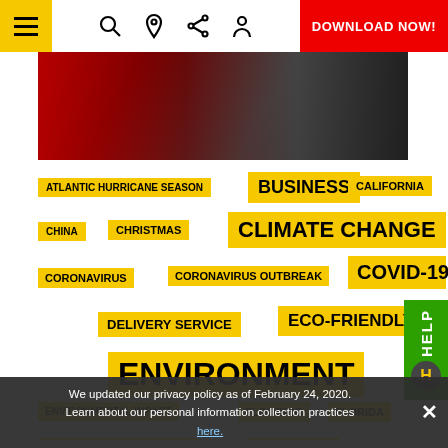≡ [icons] DOWNLOAD NOW!
[Figure (photo): Partial photo of a person holding something red on a dark background]
[Figure (infographic): Tag cloud with yellow keyword tags: ATLANTIC HURRICANE SEASON, BUSINESS, CALIFORNIA, CHINA, CHRISTMAS, CLIMATE CHANGE, CORONAVIRUS, CORONAVIRUS OUTBREAK, COVID-19, DELIVERY SERVICE, ECO-FRIENDLY, ENVIRONMENT, ENVIRONMENTAL IMPACT, FLOODING, FLORIDA, GLOBAL WARMING, HAULTAIL, HAWAII, HEALTH, HURRICANE, HURRICANE DORIAN, LIFESTYL[E], MAKE MONEY, MICROPLASTICS, MONEY, [NATIONAL HURRICANE...], OCEAN POLLUTION, PEOPLE, PLASTIC]
We updated our privacy policy as of February 24, 2020. Learn about our personal information collection practices here.